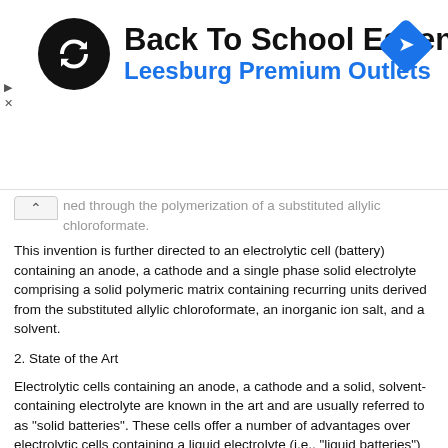[Figure (advertisement): Back To School Essentials - Leesburg Premium Outlets advertisement banner with circular logo and navigation arrow icon]
ned through the polymerization of a substituted allylic chloroformate.
This invention is further directed to an electrolytic cell (battery) containing an anode, a cathode and a single phase solid electrolyte comprising a solid polymeric matrix containing recurring units derived from the substituted allylic chloroformate, an inorganic ion salt, and a solvent.
2. State of the Art
Electrolytic cells containing an anode, a cathode and a solid, solvent-containing electrolyte are known in the art and are usually referred to as "solid batteries". These cells offer a number of advantages over electrolytic cells containing a liquid electrolyte (i.e., "liquid batteries") including improved safety features.
The solid, solvent-containing electrolyte employed in such solid batteries has heretofore contained either an inorganic matrix or an organic polymeric matrix as well as a suitable inorganic ion salt. Because of their expense and difficulty in forming into a variety of shapes, inorganic non-polymeric matrices are, however, not preferred and the art typically has employed a